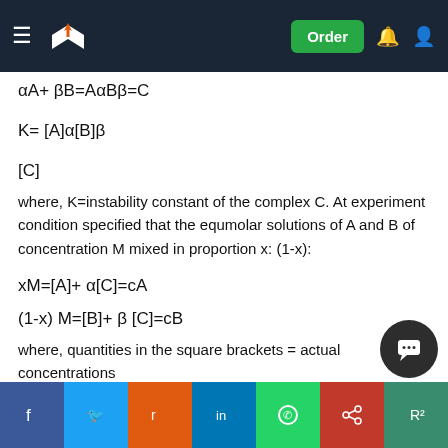Navigation bar with logo and Order button
where, K=instability constant of the complex C. At experiment condition specified that the equmolar solutions of A and B of concentration M mixed in proportion x: (1-x):
where, quantities in the square brackets = actual concentrations
cA and cB are total concentrations of complexes A and B